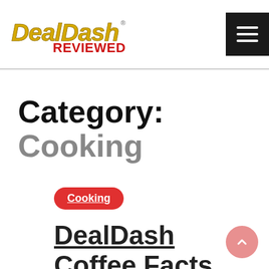DealDash Reviewed
Category: Cooking
Cooking
DealDash Coffee Facts – Past & Present